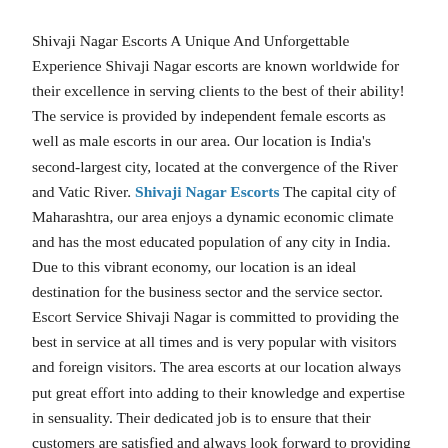Shivaji Nagar Escorts A Unique And Unforgettable Experience Shivaji Nagar escorts are known worldwide for their excellence in serving clients to the best of their ability! The service is provided by independent female escorts as well as male escorts in our area. Our location is India's second-largest city, located at the convergence of the River and Vatic River. Shivaji Nagar Escorts The capital city of Maharashtra, our area enjoys a dynamic economic climate and has the most educated population of any city in India. Due to this vibrant economy, our location is an ideal destination for the business sector and the service sector. Escort Service Shivaji Nagar is committed to providing the best in service at all times and is very popular with visitors and foreign visitors. The area escorts at our location always put great effort into adding to their knowledge and expertise in sensuality. Their dedicated job is to ensure that their customers are satisfied and always look forward to providing you with Independent Escorts Shivaji Nagar services. The male escorts in our area can be picked up from any part of the city and can start in their vehicles with their clients and head straight to the hotel or other place where they will be